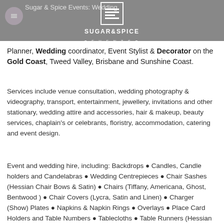Sugar & Spice Events: Wedding Planner, Wedding coordinator, Event Stylist & Decorator on the Gold Coast, Tweed Valley, Brisbane and Sunshine Coast.
Services include venue consultation, wedding photography & videography, transport, entertainment, jewellery, invitations and other stationary, wedding attire and accessories, hair & makeup, beauty services, chaplain's or celebrants, floristry, accommodation, catering and event design.
Event and wedding hire, including: Backdrops ● Candles, Candle holders and Candelabras ● Wedding Centrepieces ● Chair Sashes (Hessian Chair Bows & Satin) ● Chairs (Tiffany, Americana, Ghost, Bentwood ) ● Chair Covers (Lycra, Satin and Linen) ● Charger (Show) Plates ● Napkins & Napkin Rings ● Overlays ● Place Card Holders and Table Numbers ● Tablecloths ● Table Runners (Hessian Table runners & Satin)